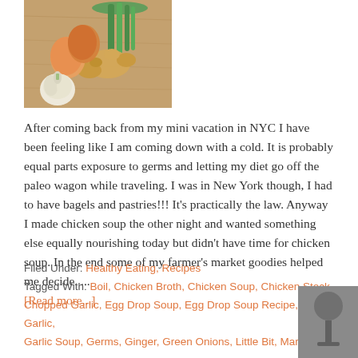[Figure (photo): Overhead photo of ginger root, eggs, garlic bulb, and green onions on a wooden cutting board]
After coming back from my mini vacation in NYC I have been feeling like I am coming down with a cold. It is probably equal parts exposure to germs and letting my diet go off the paleo wagon while traveling. I was in New York though, I had to have bagels and pastries!!! It's practically the law. Anyway I made chicken soup the other night and wanted something else equally nourishing today but didn't have time for chicken soup. In the end some of my farmer's market goodies helped me decide. ...
[Read more...]
Filed Under: Healthy Eating, Recipes
Tagged With: Boil, Chicken Broth, Chicken Soup, Chicken Stock, Chopped Garlic, Egg Drop Soup, Egg Drop Soup Recipe, Eggs, Garlic, Garlic Soup, Germs, Ginger, Green Onions, Little Bit, Market